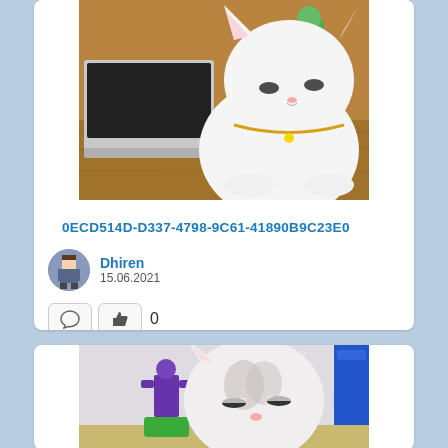[Figure (photo): White cat sitting on a desk near a laptop and black computer mouse, wearing a gold bell collar. Green toy figure visible in background.]
0ECD514D-D337-4798-9C61-41890B9C23E0
[Figure (photo): Small circular avatar image of a pixel-art style person]
Dhiren
15.06.2021
[Figure (photo): Cat with ears visible, eyes half-closed, sitting near a small Thanos action figure on a green base and a blue bottle in the background.]